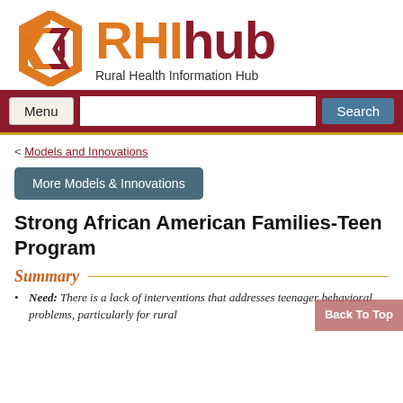[Figure (logo): RHIhub Rural Health Information Hub logo with geometric hexagon icon in orange and dark red, and text 'RHI' in orange and 'hub' in dark red, with subtitle 'Rural Health Information Hub']
[Figure (screenshot): Navigation bar with dark red background containing Menu button, search input field, and Search button]
< Models and Innovations
More Models & Innovations
Strong African American Families-Teen Program
Summary
Need: There is a lack of interventions that addresses teenager behavioral problems, particularly for rural